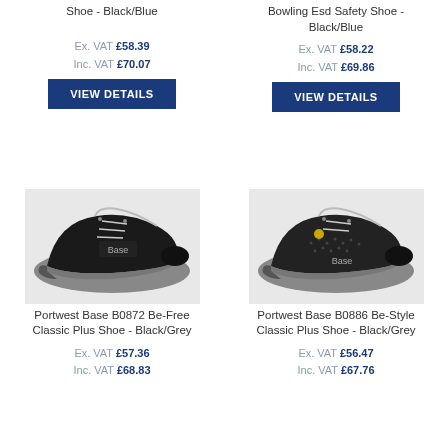Shoe - Black/Blue
Ex. VAT £58.39
Inc. VAT £70.07
VIEW DETAILS
Bowling Esd Safety Shoe - Black/Blue
Ex. VAT £58.22
Inc. VAT £69.86
VIEW DETAILS
[Figure (photo): Portwest Base B0872 Be-Free Classic Plus Shoe - Black/Grey, black leather safety shoe with grey sole and Base branding]
Portwest Base B0872 Be-Free Classic Plus Shoe - Black/Grey
Ex. VAT £57.36
Inc. VAT £68.83
[Figure (photo): Portwest Base B0886 Be-Style Classic Plus Shoe - Black/Grey, black perforated safety shoe with grey sole and Base branding]
Portwest Base B0886 Be-Style Classic Plus Shoe - Black/Grey
Ex. VAT £56.47
Inc. VAT £67.76